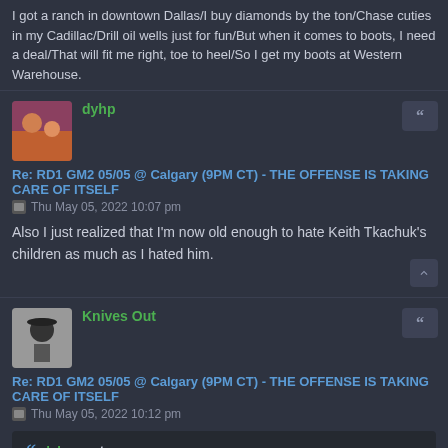I got a ranch in downtown Dallas/I buy diamonds by the ton/Chase cuties in my Cadillac/Drill oil wells just for fun/But when it comes to boots, I need a deal/That will fit me right, toe to heel/So I get my boots at Western Warehouse.
dyhp
Re: RD1 GM2 05/05 @ Calgary (9PM CT) - THE OFFENSE IS TAKING CARE OF ITSELF
Thu May 05, 2022 10:07 pm
Also I just realized that I'm now old enough to hate Keith Tkachuk's children as much as I hated him.
Knives Out
Re: RD1 GM2 05/05 @ Calgary (9PM CT) - THE OFFENSE IS TAKING CARE OF ITSELF
Thu May 05, 2022 10:12 pm
dyhp wrote: ↑
Is there history with Klingberg and Calgary? Not sure why they are obsessed with him.